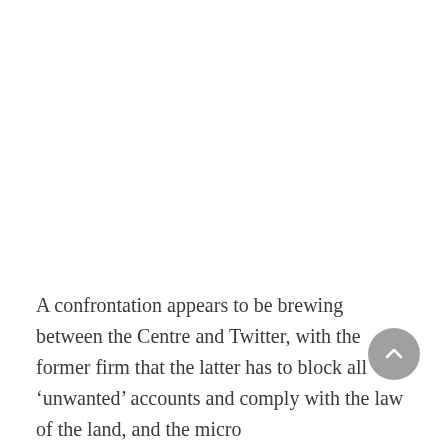A confrontation appears to be brewing between the Centre and Twitter, with the former firm that the latter has to block all ‘unwanted’ accounts and comply with the law of the land, and the micro